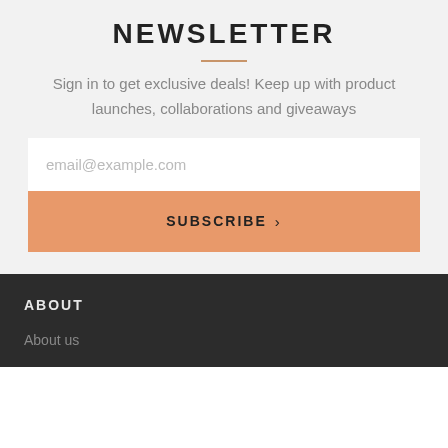NEWSLETTER
Sign in to get exclusive deals! Keep up with product launches, collaborations and giveaways
email@example.com
SUBSCRIBE >
ABOUT
About us